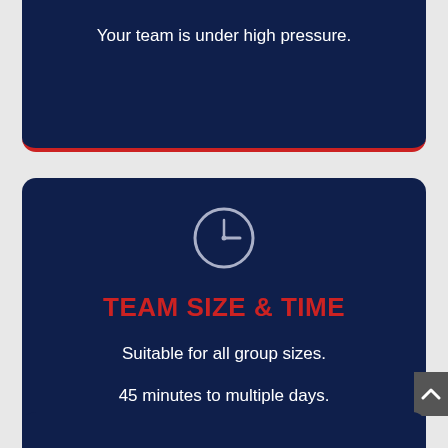Your team is under high pressure.
[Figure (illustration): Clock icon — circular outline with hour and minute hands pointing to approximately 3 o'clock]
TEAM SIZE & TIME
Suitable for all group sizes.
45 minutes to multiple days.